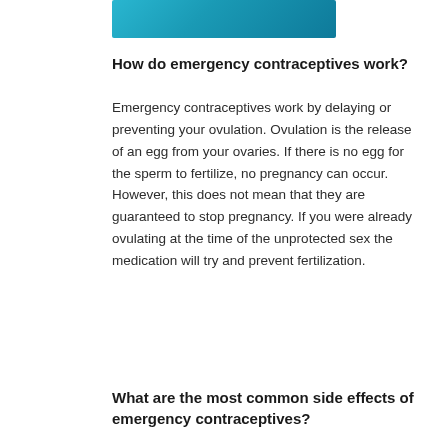[Figure (photo): Blue teal gradient header image strip]
How do emergency contraceptives work?
Emergency contraceptives work by delaying or preventing your ovulation. Ovulation is the release of an egg from your ovaries. If there is no egg for the sperm to fertilize, no pregnancy can occur. However, this does not mean that they are guaranteed to stop pregnancy. If you were already ovulating at the time of the unprotected sex the medication will try and prevent fertilization.
What are the most common side effects of emergency contraceptives?